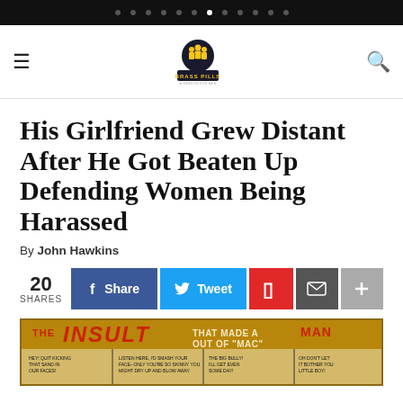Navigation dots indicator bar
[Figure (logo): Brass Pills website logo with icon of figure and text 'BRASS PILLS - A Website For Men']
His Girlfriend Grew Distant After He Got Beaten Up Defending Women Being Harassed
By John Hawkins
20 SHARES | Share | Tweet | Flipboard | Email | +
[Figure (photo): Comic strip panel showing 'THE INSULT THAT MADE A MAN OUT OF MAC' with characters in conversation panels]